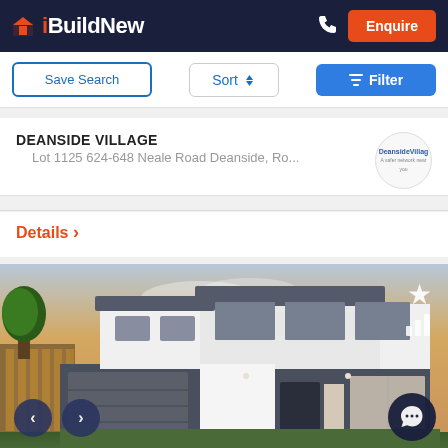iBuildNew — Enquire
Save Search | Sort | Filter
DEANSIDE VILLAGE
Lot 1125 624-648 Neale Road Deanside, Ro...
Details >
[Figure (photo): Modern two-storey house facade with dark charcoal lower level, white upper level with large windows, exposed timber fence on left, warm sunset sky background. Navigation arrows and chat bubble overlay visible.]